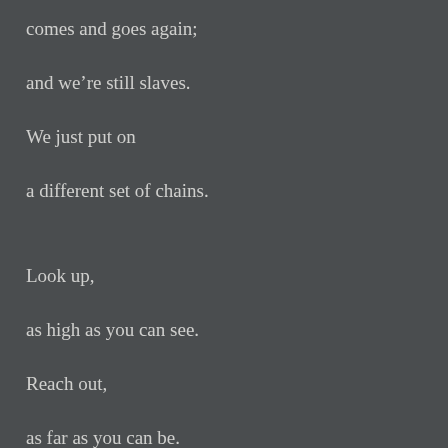comes and goes again;
and we're still slaves.
We just put on
a different set of chains.
Look up,
as high as you can see.
Reach out,
as far as you can be.
Separate yourself,